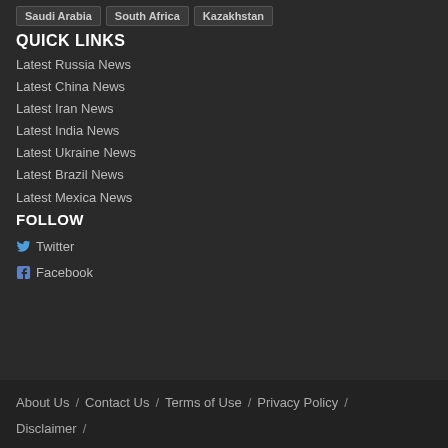Saudi Arabia  South Africa  Kazakhstan
QUICK LINKS
Latest Russia News
Latest China News
Latest Iran News
Latest India News
Latest Ukraine News
Latest Brazil News
Latest Mexica News
FOLLOW
Twitter
Facebook
About Us / Contact Us / Terms of Use / Privacy Policy / Disclaimer /